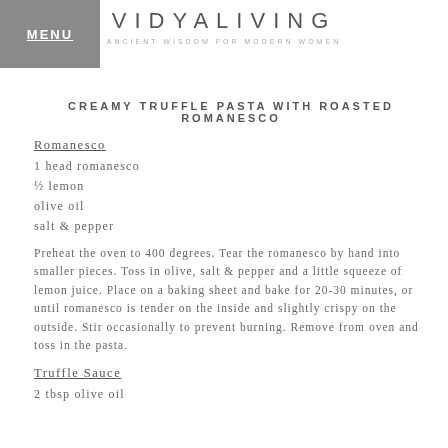MENU | VIDYALIVING | ANCIENT WISDOM FOR MODERN WOMEN
CREAMY TRUFFLE PASTA WITH ROASTED ROMANESCO
Romanesco
1 head romanesco
½ lemon
olive oil
salt & pepper
Preheat the oven to 400 degrees. Tear the romanesco by hand into smaller pieces. Toss in olive, salt & pepper and a little squeeze of lemon juice. Place on a baking sheet and bake for 20-30 minutes, or until romanesco is tender on the inside and slightly crispy on the outside. Stir occasionally to prevent burning. Remove from oven and toss in the pasta.
Truffle Sauce
2 tbsp olive oil